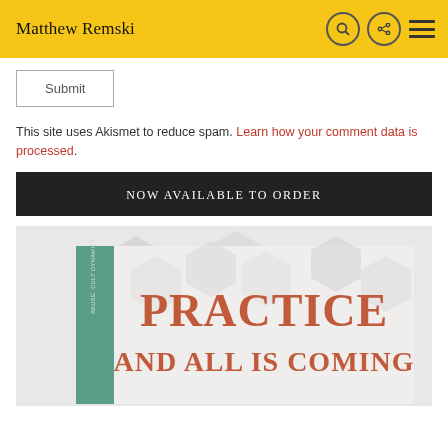Matthew Remski
Submit
This site uses Akismet to reduce spam. Learn how your comment data is processed.
NOW AVAILABLE TO ORDER
[Figure (photo): Book cover for 'Practice and All Is Coming' by Matthew Remski — subtitle mentions Abuse, Cult Dynamics. Cover shows large text 'PRACTICE AND ALL IS COMING' in terracotta/orange on a light background with hexagonal shapes. Book spine is teal/green.]